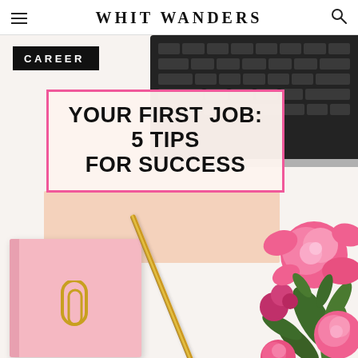WHIT WANDERS
[Figure (photo): Blog article header image showing a flat lay styled desk scene with a laptop keyboard, pink notebook, gold pen, gold paper clip, and pink flowers on a white surface. Overlaid with a black 'CAREER' category label and a bordered title card reading 'YOUR FIRST JOB: 5 TIPS FOR SUCCESS'.]
YOUR FIRST JOB: 5 TIPS FOR SUCCESS